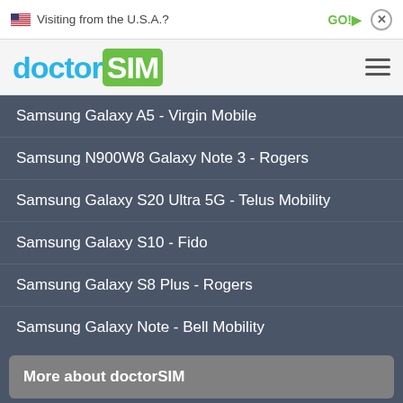Visiting from the U.S.A.?
[Figure (logo): doctorSIM logo — 'doctor' in cyan, 'SIM' in white on green rounded rectangle]
Samsung Galaxy A5 - Virgin Mobile
Samsung N900W8 Galaxy Note 3 - Rogers
Samsung Galaxy S20 Ultra 5G - Telus Mobility
Samsung Galaxy S10 - Fido
Samsung Galaxy S8 Plus - Rogers
Samsung Galaxy Note - Bell Mobility
More about doctorSIM
Commitment to Good Practice
Security and Protection